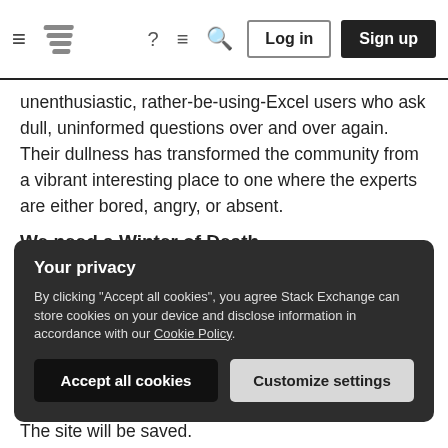Stack Exchange navigation bar with hamburger menu, logo, help, chat, search icons, Log in and Sign up buttons
unenthusiastic, rather-be-using-Excel users who ask dull, uninformed questions over and over again. Their dullness has transformed the community from a vibrant interesting place to one where the experts are either bored, angry, or absent.
We need a Winter of Death
If this site is to become vibrant and useful again, it must return to its core values. We must reject the non-enthusiasts and kill their questions. We must
Your privacy
By clicking "Accept all cookies", you agree Stack Exchange can store cookies on your device and disclose information in accordance with our Cookie Policy.
Accept all cookies
Customize settings
The site will be saved.